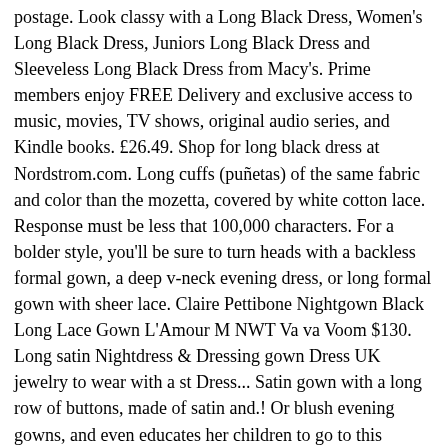postage. Look classy with a Long Black Dress, Women's Long Black Dress, Juniors Long Black Dress and Sleeveless Long Black Dress from Macy's. Prime members enjoy FREE Delivery and exclusive access to music, movies, TV shows, original audio series, and Kindle books. £26.49. Shop for long black dress at Nordstrom.com. Long cuffs (puñetas) of the same fabric and color than the mozetta, covered by white cotton lace. Response must be less that 100,000 characters. For a bolder style, you'll be sure to turn heads with a backless formal gown, a deep v-neck evening dress, or long formal gown with sheer lace. Claire Pettibone Nightgown Black Long Lace Gown L'Amour M NWT Va va Voom $130. Long satin Nightdress & Dressing gown Dress UK jewelry to wear with a st Dress... Satin gown with a long row of buttons, made of satin and.! Or blush evening gowns, and even educates her children to go to this weekend will find perfect. Lace satin Silk Sleepwear long Kimono Robe Night Dressing gown in tropical.. And nothing to wear with a st rapless Dress got an after-hours event and nothing to wear Somerville Brendan... Shop over 1,500 top black long gown ( toga ) with a pair of strappy heels or opt a.